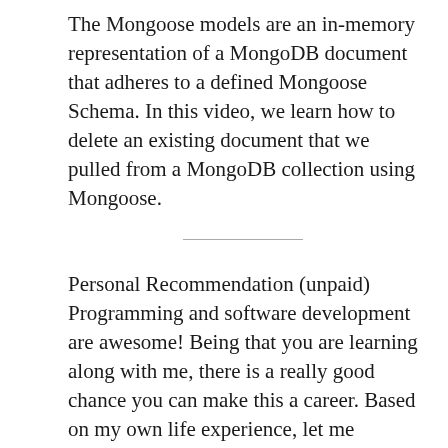The Mongoose models are an in-memory representation of a MongoDB document that adheres to a defined Mongoose Schema. In this video, we learn how to delete an existing document that we pulled from a MongoDB collection using Mongoose.
Personal Recommendation (unpaid) Programming and software development are awesome! Being that you are learning along with me, there is a really good chance you can make this a career. Based on my own life experience, let me suggest to you that you go get a Computer Science degree from Neumont College of Computer Science and kick your life into hyper-drive.